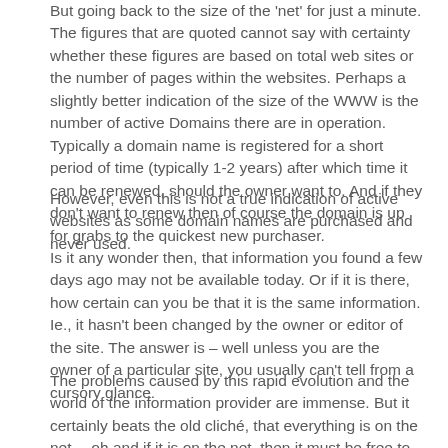But going back to the size of the 'net' for just a minute. The figures that are quoted cannot say with certainty whether these figures are based on total web sites or the number of pages within the websites. Perhaps a slightly better indication of the size of the WWW is the number of active Domains there are in operation. Typically a domain name is registered for a short period of time (typically 1-2 years) after which time it can be renewed, should the owner want to. And if they don't want to renew then of course the domain is up for grabs to the quickest new purchaser.
However, even this is not a true indication of active websites as some domain names are purchased and never used.
Is it any wonder then, that information you found a few days ago may not be available today. Or if it is there, how certain can you be that it is the same information. Ie., it hasn't been changed by the owner or editor of the site. The answer is – well unless you are the owner of a particular site, you usually can't tell from a cursory glance.
The problems caused by this rapid evolution and the world of the information provider are immense. But it certainly beats the old cliché, that everything is on the net….oh and if it is on the net, then it must be free to use and utilise. How can I put this politely – wrong and wrong again.